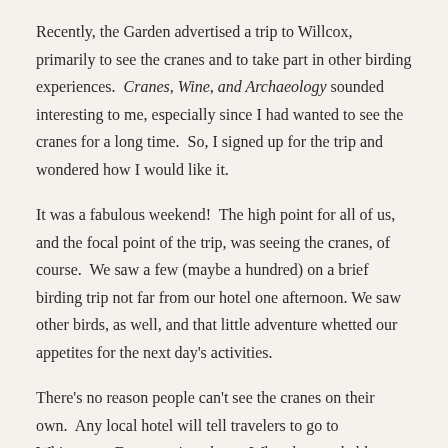Recently, the Garden advertised a trip to Willcox, primarily to see the cranes and to take part in other birding experiences. Cranes, Wine, and Archaeology sounded interesting to me, especially since I had wanted to see the cranes for a long time. So, I signed up for the trip and wondered how I would like it.
It was a fabulous weekend! The high point for all of us, and the focal point of the trip, was seeing the cranes, of course. We saw a few (maybe a hundred) on a brief birding trip not far from our hotel one afternoon. We saw other birds, as well, and that little adventure whetted our appetites for the next day's activities.
There's no reason people can't see the cranes on their own. Any local hotel will tell travelers to go to Whitewater Draw to view them. What they probably wouldn't know to tell visitors is that the cranes sleep at the Draw, but they leave there very early in the morning and go elsewhere to feed. So, if you're there around 7:30 a.m, you might see them all take flight,